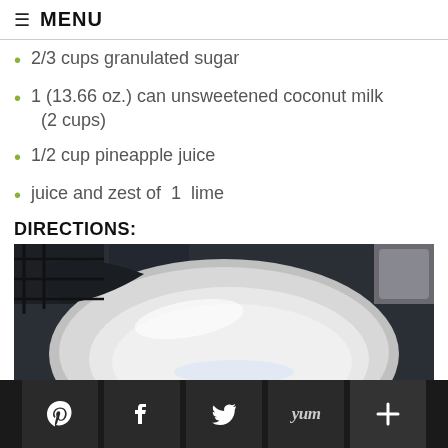☰  MENU
2/3 cups granulated sugar
1 (13.66 oz.) can unsweetened coconut milk (2 cups)
1/2 cup pineapple juice
juice and zest of  1  lime
DIRECTIONS:
[Figure (photo): A stainless steel saucepan on a stove burner, viewed from above, with a small amount of clear liquid in the bottom.]
Pinterest  Facebook  Twitter  Yum  +